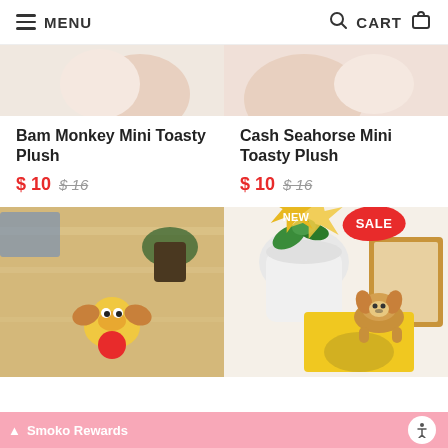MENU | CART
Bam Monkey Mini Toasty Plush
$10  $16
Cash Seahorse Mini Toasty Plush
$10  $16
[Figure (photo): Bam Monkey Mini Toasty Plush product photo on wooden surface with plant]
[Figure (photo): Corgi mini plush on yellow book/packaging with NEW and SALE badges]
Smoko Rewards